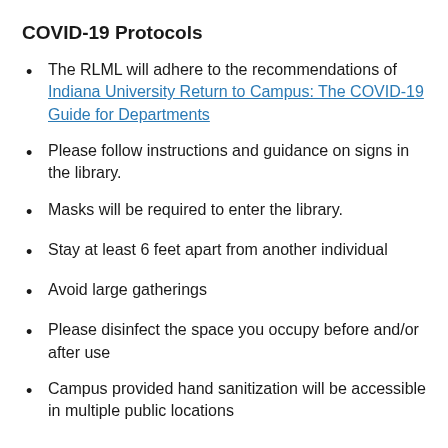COVID-19 Protocols
The RLML will adhere to the recommendations of Indiana University Return to Campus: The COVID-19 Guide for Departments
Please follow instructions and guidance on signs in the library.
Masks will be required to enter the library.
Stay at least 6 feet apart from another individual
Avoid large gatherings
Please disinfect the space you occupy before and/or after use
Campus provided hand sanitization will be accessible in multiple public locations